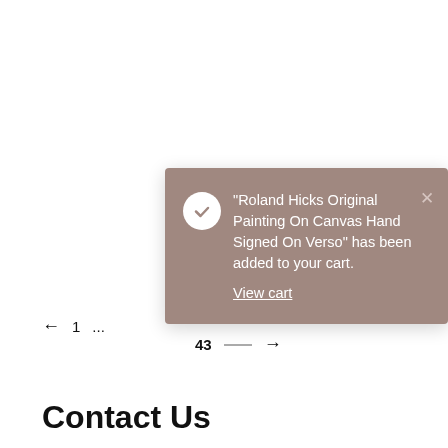[Figure (screenshot): A brown/mauve notification toast popup with a white check circle icon, showing the text: "Roland Hicks Original Painting On Canvas Hand Signed On Verso" has been added to your cart. View cart. There is an X close button in the top right.]
← 1 … 43 →
Contact Us